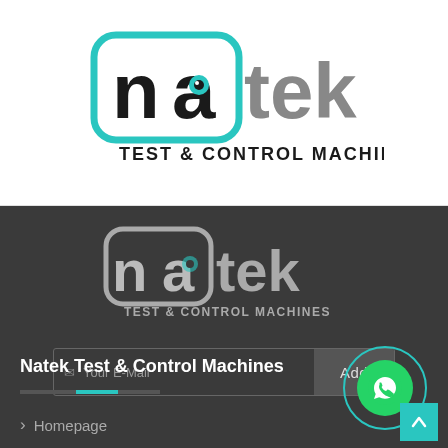[Figure (logo): Natek logo with teal rounded square border, black 'na' with teal eye dot, grey 'tek' text, and 'TEST & CONTROL MACHINES' tagline in black bold text]
[Figure (logo): Natek logo in grey/white version on dark background, with 'TEST & CONTROL MACHINES' tagline in grey text]
Your E-Mail
Add
Natek Test & Control Machines
Homepage
[Figure (illustration): WhatsApp icon button (green circle with phone icon) with teal circular border, and a teal scroll-to-top button with up arrow]